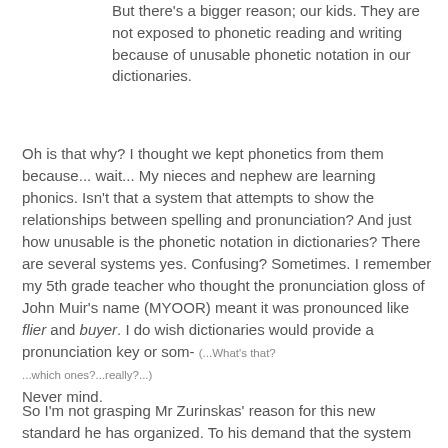But there's a bigger reason; our kids. They are not exposed to phonetic reading and writing because of unusable phonetic notation in our dictionaries.
Oh is that why? I thought we kept phonetics from them because... wait... My nieces and nephew are learning phonics. Isn't that a system that attempts to show the relationships between spelling and pronunciation? And just how unusable is the phonetic notation in dictionaries? There are several systems yes. Confusing? Sometimes. I remember my 5th grade teacher who thought the pronunciation gloss of John Muir's name (MYOOR) meant it was pronounced like flier and buyer. I do wish dictionaries would provide a pronunciation key or som- (...What's that? ...which ones?...really?...) Never mind.
So I'm not grasping Mr Zurinskas' reason for this new standard he has organized. To his demand that the system